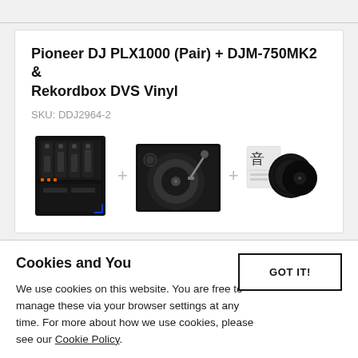Pioneer DJ PLX1000 (Pair) + DJM-750MK2 & Rekordbox DVS Vinyl
SKU: DDJ2964-2
[Figure (photo): Product bundle image showing a DJ mixer, a turntable, plus signs between them, and a vinyl record package]
Cookies and You
We use cookies on this website. You are free to manage these via your browser settings at any time. For more about how we use cookies, please see our Cookie Policy.